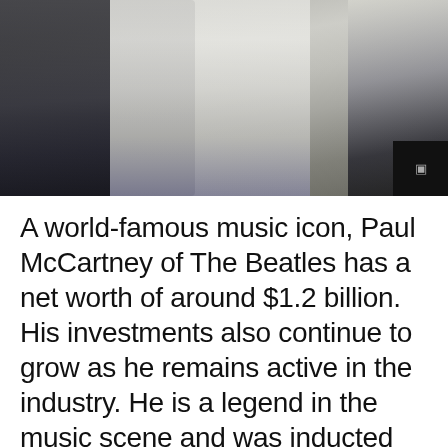[Figure (photo): Photo of people walking, showing a woman in a white sweater and blue jeans with a long necklace, and a man in a dark black jacket, stepping down stone stairs. A person in dark clothing is visible on the right edge.]
A world-famous music icon, Paul McCartney of The Beatles has a net worth of around $1.2 billion. His investments also continue to grow as he remains active in the industry. He is a legend in the music scene and was inducted into various Hall of Fames and earned world records. For his recent works, Paul released an album Egypt Station bac[k in] 2018...